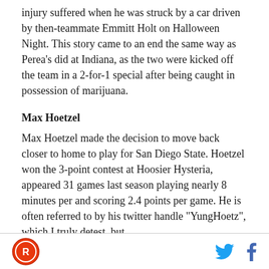injury suffered when he was struck by a car driven by then-teammate Emmitt Holt on Halloween Night. This story came to an end the same way as Perea's did at Indiana, as the two were kicked off the team in a 2-for-1 special after being caught in possession of marijuana.
Max Hoetzel
Max Hoetzel made the decision to move back closer to home to play for San Diego State. Hoetzel won the 3-point contest at Hoosier Hysteria, appeared 31 games last season playing nearly 8 minutes per and scoring 2.4 points per game. He is often referred to by his twitter handle "YungHoetz", which I truly detest, but
[logo] [twitter] [facebook]